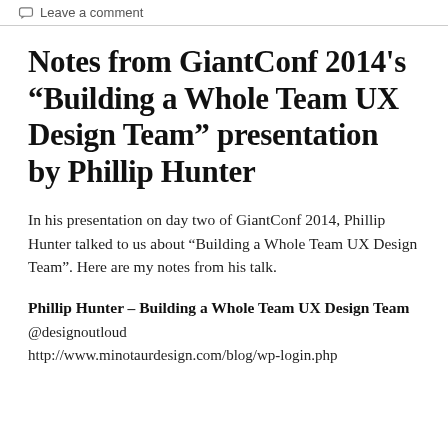Leave a comment
Notes from GiantConf 2014's “Building a Whole Team UX Design Team” presentation by Phillip Hunter
In his presentation on day two of GiantConf 2014, Phillip Hunter talked to us about “Building a Whole Team UX Design Team”. Here are my notes from his talk.
Phillip Hunter – Building a Whole Team UX Design Team
@designoutloud
http://www.minotaurdesign.com/blog/wp-login.php